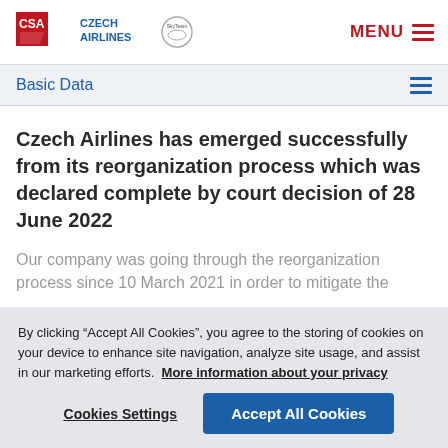CSA Czech Airlines | MENU
Basic Data
Czech Airlines has emerged successfully from its reorganization process which was declared complete by court decision of 28 June 2022
Our company was going through the reorganization process since 10 March 2021 in order to mitigate the
By clicking “Accept All Cookies”, you agree to the storing of cookies on your device to enhance site navigation, analyze site usage, and assist in our marketing efforts. More information about your privacy
Cookies Settings | Accept All Cookies